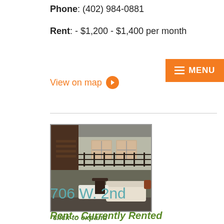Phone: (402) 984-0881
Rent: - $1,200 - $1,400 per month
View on map →
[Figure (photo): Interior photo of a loft or apartment showing a mezzanine level with metal railings, windows, stairs, and living room furniture below.]
click to expand
706 W. 2nd
Rent - Currently Rented